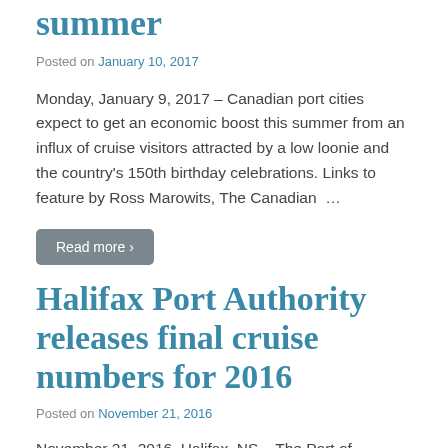summer
Posted on January 10, 2017
Monday, January 9, 2017 – Canadian port cities expect to get an economic boost this summer from an influx of cruise visitors attracted by a low loonie and the country's 150th birthday celebrations. Links to feature by Ross Marowits, The Canadian …
Read more ›
Halifax Port Authority releases final cruise numbers for 2016
Posted on November 21, 2016
November 21, 2016, Halifax, NS – The Port of